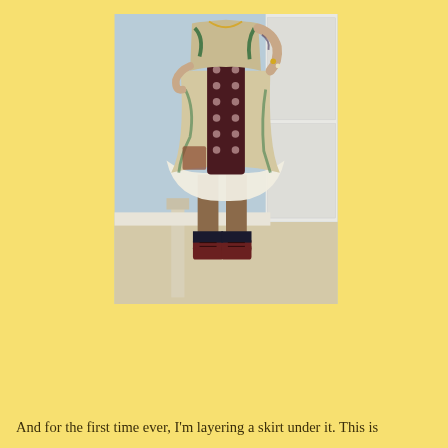[Figure (photo): A person standing in front of a mirror and white cabinet, wearing a layered eclectic outfit: a patterned dress/top with green, beige, and brown prints, a dark polka-dot overlay, a white ruffled underskirt peeking out at the bottom, dark hosiery, and dark burgundy lace-up ankle boots with black socks. The person has tattoos visible on their right arm and is wearing jewelry including rings and a bracelet. The setting appears to be a bedroom or dressing area with light blue walls and beige carpet.]
And for the first time ever, I'm layering a skirt under it. This is